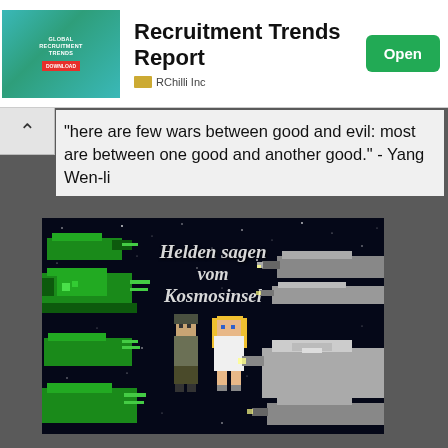[Figure (screenshot): Advertisement banner for 'Recruitment Trends Report' by RChilli Inc with a teal cover image on the left, bold title text in the center, and a green 'Open' button on the right.]
"here are few wars between good and evil: most are between one good and another good." - Yang Wen-li
[Figure (screenshot): Pixel art game screenshot showing the title 'Heldensagen vom Kosmosinsel' in gothic/blackletter font on a starry black background, with green pixel art spaceships on the left and gray spaceships on the right, and two pixel art characters (a soldier and a blonde woman) in the center.]